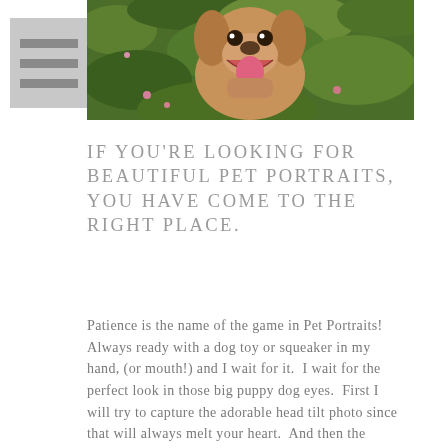[Figure (photo): A dog photographed from above, mouth open, against green grass background]
[Figure (other): Hamburger/navigation menu icon with three horizontal lines on a grey background]
IF YOU'RE LOOKING FOR BEAUTIFUL PET PORTRAITS, YOU HAVE COME TO THE RIGHT PLACE.
Patience is the name of the game in Pet Portraits!  Always ready with a dog toy or squeaker in my hand, (or mouth!) and I wait for it.  I wait for the perfect look in those big puppy dog eyes.  First I will try to capture the adorable head tilt photo since that will always melt your heart.  And then the running photos with the tongue flailing are a must to have.  And finally, I will initiate a